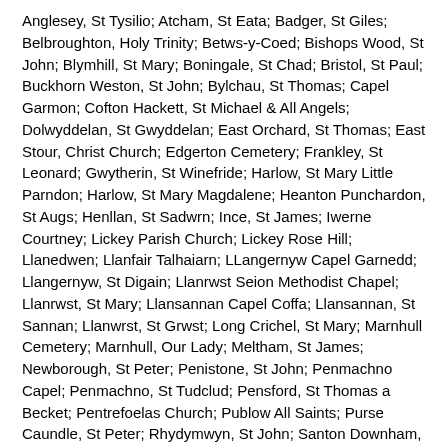Anglesey, St Tysilio; Atcham, St Eata; Badger, St Giles; Belbroughton, Holy Trinity; Betws-y-Coed; Bishops Wood, St John; Blymhill, St Mary; Boningale, St Chad; Bristol, St Paul; Buckhorn Weston, St John; Bylchau, St Thomas; Capel Garmon; Cofton Hackett, St Michael & All Angels; Dolwyddelan, St Gwyddelan; East Orchard, St Thomas; East Stour, Christ Church; Edgerton Cemetery; Frankley, St Leonard; Gwytherin, St Winefride; Harlow, St Mary Little Parndon; Harlow, St Mary Magdalene; Heanton Punchardon, St Augs; Henllan, St Sadwrn; Ince, St James; Iwerne Courtney; Lickey Parish Church; Lickey Rose Hill; Llanedwen; Llanfair Talhaiarn; LLangernyw Capel Garnedd; Llangernyw, St Digain; Llanrwst Seion Methodist Chapel; Llanrwst, St Mary; Llansannan Capel Coffa; Llansannan, St Sannan; Llanwrst, St Grwst; Long Crichel, St Mary; Marnhull Cemetery; Marnhull, Our Lady; Meltham, St James; Newborough, St Peter; Penistone, St John; Penmachno Capel; Penmachno, St Tudclud; Pensford, St Thomas a Becket; Pentrefoelas Church; Publow All Saints; Purse Caundle, St Peter; Rhydymwyn, St John; Santon Downham, St Mary; Shillingstone, Holy Rood; Tal-y-Bont Capel; Tisbury Cemetery; Todber, St Andrew; Trefnant Holy Trinity; Trefriw, St Mary; Tyn-y-Groes; West Orchard, St Luke; Wilton, St Mary & St Nicholas; Wroxeter, St Andrew; Ysbyty Ifan, St John